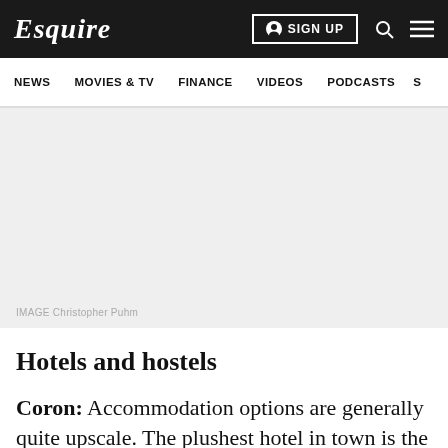Esquire — SIGN UP — [search] [menu]
NEWS   MOVIES & TV   FINANCE   VIDEOS   PODCASTS   S…
[Figure (photo): Large photo area (light gray placeholder), image credit: Christopher Puhm]
IMAGE Christopher Puhm
Hotels and hostels
Coron: Accommodation options are generally quite upscale. The plushest hotel in town is the Two…